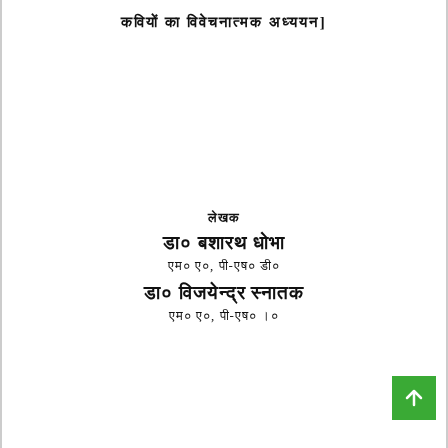कवियों का विवेचनात्मक अध्ययन]
लेखक
डा० बशारथ धोभा
एम० ए०, पी-एष० डी०
डा० विजयेन्द्र स्नातक
एम० ए०, पी-एष० ।०